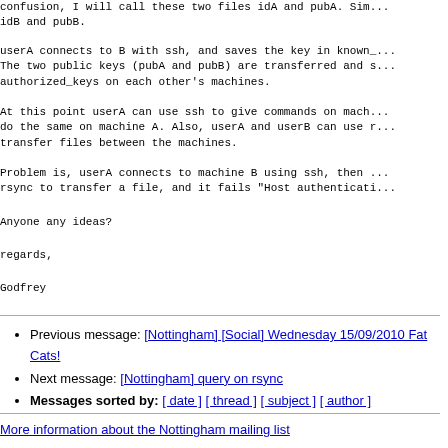confusion, I will call these two files idA and pubA. Sim... idB and pubB.
userA connects to B with ssh, and saves the key in known_... The two public keys (pubA and pubB) are transferred and s... authorized_keys on each other's machines.
At this point userA can use ssh to give commands on mach... do the same on machine A. Also, userA and userB can use r... transfer files between the machines.
Problem is, userA connects to machine B using ssh, then ... rsync to transfer a file, and it fails "Host authenticati...
Anyone any ideas?
regards,
Godfrey
Previous message: [Nottingham] [Social] Wednesday 15/09/2010 Fat Cats!
Next message: [Nottingham] query on rsync
Messages sorted by: [ date ] [ thread ] [ subject ] [ author ]
More information about the Nottingham mailing list